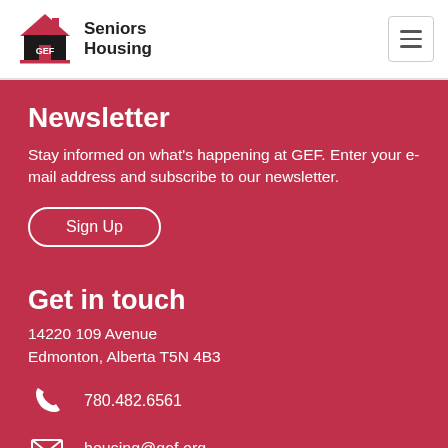GEF Seniors Housing
Newsletter
Stay informed on what's happening at GEF. Enter your e-mail address and subscribe to our newsletter.
Sign Up
Get in touch
14220 109 Avenue
Edmonton, Alberta T5N 4B3
780.482.6561
housing@gef.org